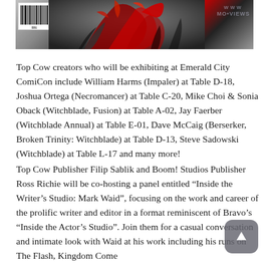[Figure (illustration): Top portion of a comic book cover showing a dark red and black creature/character with dramatic artwork, a barcode in the upper left corner, and partially visible watermark text on the right.]
Top Cow creators who will be exhibiting at Emerald City ComiCon include William Harms (Impaler) at Table D-18, Joshua Ortega (Necromancer) at Table C-20, Mike Choi & Sonia Oback (Witchblade, Fusion) at Table A-02, Jay Faerber (Witchblade Annual) at Table E-01, Dave McCaig (Berserker, Broken Trinity: Witchblade) at Table D-13, Steve Sadowski (Witchblade) at Table L-17 and many more!
Top Cow Publisher Filip Sablik and Boom! Studios Publisher Ross Richie will be co-hosting a panel entitled “Inside the Writer’s Studio: Mark Waid”, focusing on the work and career of the prolific writer and editor in a format reminiscent of Bravo’s “Inside the Actor’s Studio”. Join them for a casual conversation and intimate look with Waid at his work including his runs on The Flash, Kingdom Come